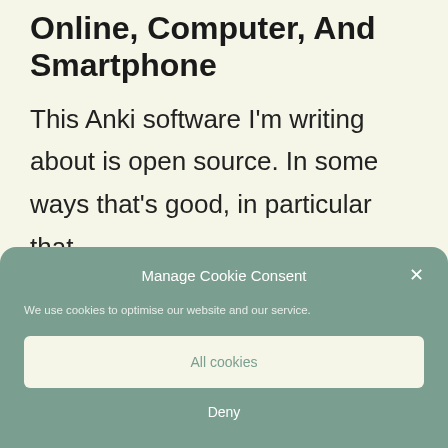Online, Computer, And Smartphone
This Anki software I'm writing about is open source. In some ways that's good, in particular that…
Manage Cookie Consent
We use cookies to optimise our website and our service.
All cookies
Deny